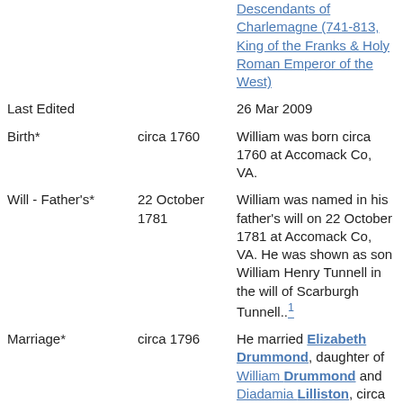| Field | Date | Details |
| --- | --- | --- |
|  |  | Descendants of Charlemagne (741-813, King of the Franks & Holy Roman Emperor of the West) |
| Last Edited |  | 26 Mar 2009 |
| Birth* | circa 1760 | William was born circa 1760 at Accomack Co, VA. |
| Will - Father's* | 22 October 1781 | William was named in his father's will on 22 October 1781 at Accomack Co, VA. He was shown as son William Henry Tunnell in the will of Scarburgh Tunnell..1 |
| Marriage* | circa 1796 | He married Elizabeth Drummond, daughter of William Drummond and Diadamia Lilliston, circa 1796.2 |
| Security on MLB* | 29 July 1806 | William was the |